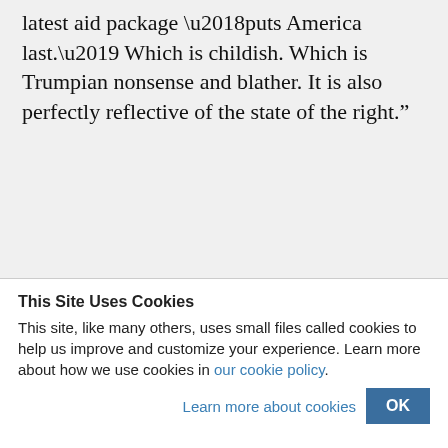latest aid package ‘puts America last.’ Which is childish. Which is Trumpian nonsense and blather. It is also perfectly reflective of the state of the right.”
This Site Uses Cookies
This site, like many others, uses small files called cookies to help us improve and customize your experience. Learn more about how we use cookies in our cookie policy.
Learn more about cookies  OK